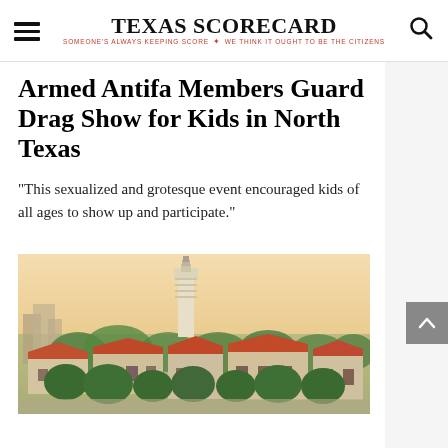TEXAS SCORECARD — SOMEONE'S ALWAYS KEEPING SCORE · WE THINK IT OUGHT TO BE THE CITIZENS
Armed Antifa Members Guard Drag Show for Kids in North Texas
“This sexualized and grotesque event encouraged kids of all ages to show up and participate.”
[Figure (photo): Aerial photograph of a university campus with red-roofed buildings, green trees, and a tower, likely University of Texas at Austin.]